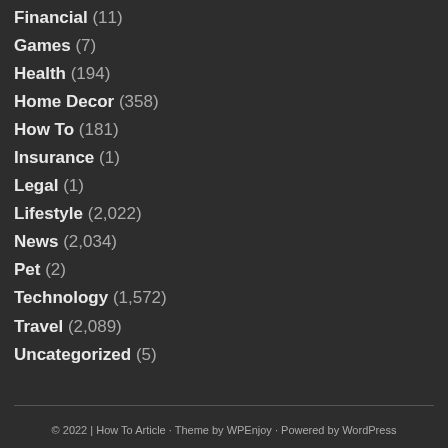Financial (11)
Games (7)
Health (194)
Home Decor (358)
How To (181)
Insurance (1)
Legal (1)
Lifestyle (2,022)
News (2,034)
Pet (2)
Technology (1,572)
Travel (2,089)
Uncategorized (5)
© 2022 | How To Article · Theme by WPEnjoy · Powered by WordPress